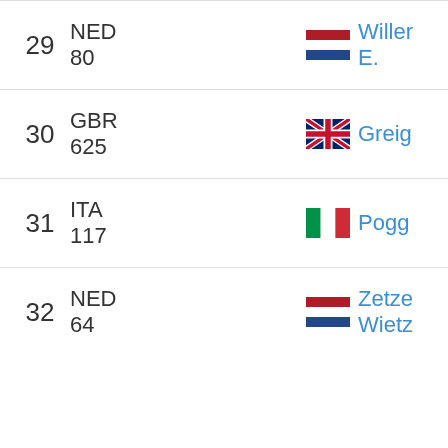| Rank | Country/Points | Flag | Name |
| --- | --- | --- | --- |
| 29 | NED
80 | NED flag | Willer E. |
| 30 | GBR
625 | GBR flag | Greig |
| 31 | ITA
117 | ITA flag | Pogg |
| 32 | NED
64 | NED flag | Zetze Wietz |